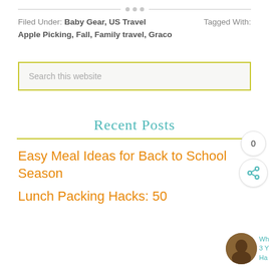Filed Under: Baby Gear, US Travel   Tagged With:
Apple Picking, Fall, Family travel, Graco
Search this website
Recent Posts
Easy Meal Ideas for Back to School Season
Lunch Packing Hacks: 50